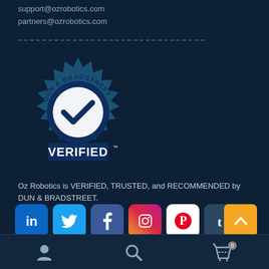support@ozrobotics.com
partners@ozrobotics.com
[Figure (logo): Dun & Bradstreet Verified badge - circular seal with checkmark and text reading DUN & BRADSTREET VERIFIED]
Oz Robotics is VERIFIED, TRUSTED, and RECOMMENDED by DUN & BRADSTREET.
[Figure (other): Social media icons: LinkedIn, Twitter, Facebook, Instagram, Pinterest, Tumblr and a scroll-to-top button]
Bottom navigation bar with person icon, search icon, and cart icon with 0 badge